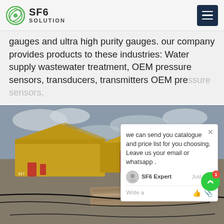SF6 SOLUTION
gauges and ultra high purity gauges. our company provides products to these industries: Water supply wastewater treatment, OEM pressure sensors, transducers, transmitters OEM pressure sensors,
[Figure (photo): Industrial SF6 gas handling equipment on trailers outdoors, with cables on the ground, cloudy sky]
we can send you catalogue and price list for you choosing. Leave us your email or whatsapp . SF6 Expert   Just now   Write a...